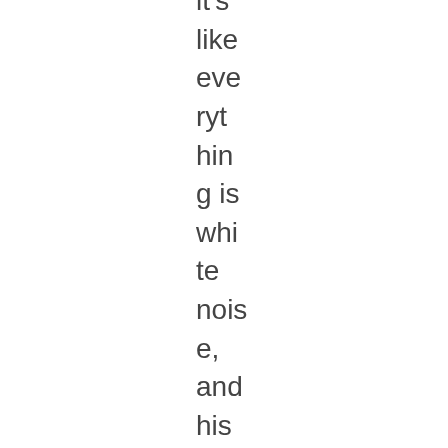It's like everything is white noise, and his voice hurdles